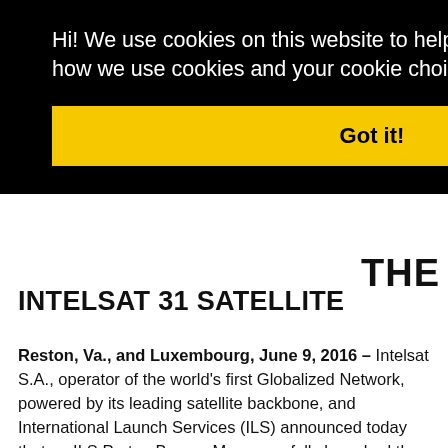[Figure (screenshot): Cookie consent overlay banner on dark background with yellow 'Got it!' button]
Hi! We use cookies on this website to help operate our site and for analytics. For more on how we use cookies and your cookie choices, please go here
Got it!
THE INTELSAT 31 SATELLITE
Reston, Va., and Luxembourg, June 9, 2016 – Intelsat S.A., operator of the world's first Globalized Network, powered by its leading satellite backbone, and International Launch Services (ILS) announced today that an ILS Proton Breeze M successfully launched the Intelsat 31 satellite from the Baikonur Cosmodrome in Kazakhstan.